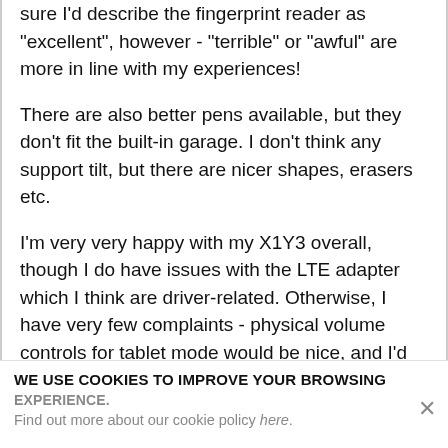sure I'd describe the fingerprint reader as "excellent", however - "terrible" or "awful" are more in line with my experiences!
There are also better pens available, but they don't fit the built-in garage. I don't think any support tilt, but there are nicer shapes, erasers etc.
I'm very very happy with my X1Y3 overall, though I do have issues with the LTE adapter which I think are driver-related. Otherwise, I have very few complaints - physical volume controls for tablet mode would be nice, and I'd love a USB-C port on each side so I can plug in the power
WE USE COOKIES TO IMPROVE YOUR BROWSING EXPERIENCE. Find out more about our cookie policy here.